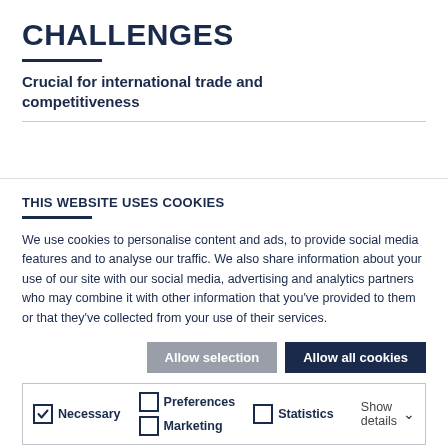CHALLENGES
Crucial for international trade and competitiveness
THIS WEBSITE USES COOKIES
We use cookies to personalise content and ads, to provide social media features and to analyse our traffic. We also share information about your use of our site with our social media, advertising and analytics partners who may combine it with other information that you've provided to them or that they've collected from your use of their services.
Allow selection | Allow all cookies
Necessary | Preferences | Statistics | Marketing | Show details